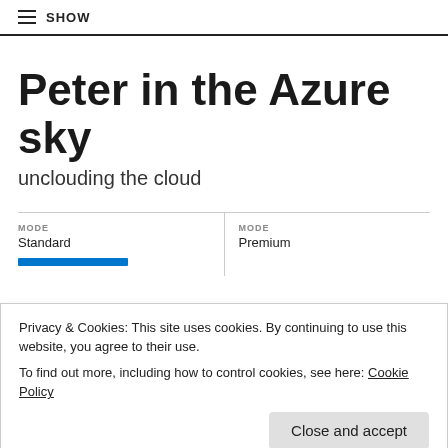≡ SHOW
Peter in the Azure sky
unclouding the cloud
MODE
Standard
MODE
Premium
Privacy & Cookies: This site uses cookies. By continuing to use this website, you agree to their use.
To find out more, including how to control cookies, see here: Cookie Policy
Close and accept